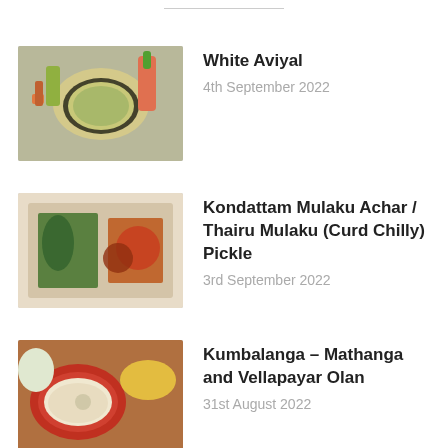White Aviyal
4th September 2022
Kondattam Mulaku Achar / Thairu Mulaku (Curd Chilly) Pickle
3rd September 2022
Kumbalanga – Mathanga and Vellapayar Olan
31st August 2022
Radish Sambar / Mullangi Sambar
30th August 2022